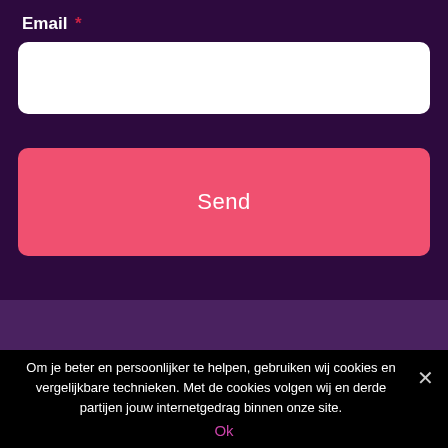Email *
[Figure (screenshot): White email input text field with rounded corners on dark purple background]
[Figure (screenshot): Pink/coral Send button with rounded corners]
Om je beter en persoonlijker te helpen, gebruiken wij cookies en vergelijkbare technieken. Met de cookies volgen wij en derde partijen jouw internetgedrag binnen onze site.
Ok